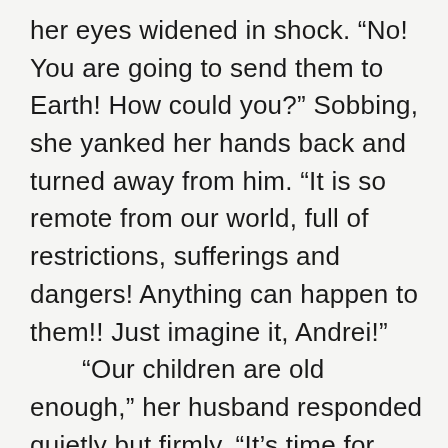her eyes widened in shock. “No! You are going to send them to Earth! How could you?” Sobbing, she yanked her hands back and turned away from him. “It is so remote from our world, full of restrictions, sufferings and dangers! Anything can happen to them!! Just imagine it, Andrei!”
“Our children are old enough,” her husband responded quietly but firmly. “It’s time for them to start learning how to overcome the trials themselves. And,” pleading with her to understand, “our most devoted spirits will also fly with them. In the meantime, we will deal with whoever is hiding on our ship – and find out what their intentions are. The